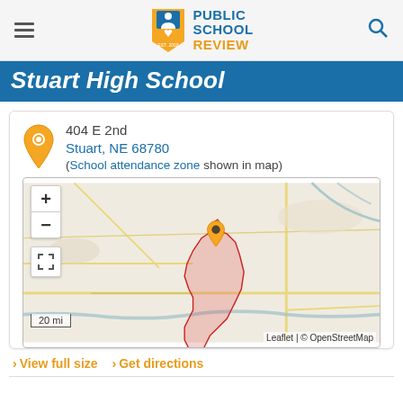Public School Review — EST. 2003
Stuart High School
404 E 2nd
Stuart, NE 68780
(School attendance zone shown in map)
[Figure (map): Interactive Leaflet map showing the school attendance zone for Stuart High School in Stuart, NE. An orange location pin marks the school at center, with a red-outlined pink shaded attendance zone. Roads and terrain in muted beige tones. Scale bar shows 20 mi. Attribution: Leaflet | © OpenStreetMap.]
View full size  ›  Get directions